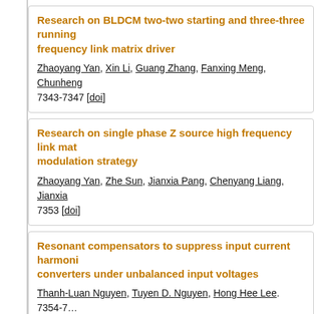Research on BLDCM two-two starting and three-three running based on high frequency link matrix driver
Zhaoyang Yan, Xin Li, Guang Zhang, Fanxing Meng, Chunheng... 7343-7347 [doi]
Research on single phase Z source high frequency link mat... modulation strategy
Zhaoyang Yan, Zhe Sun, Jianxia Pang, Chenyang Liang, Jianxia... 7353 [doi]
Resonant compensators to suppress input current harmoni... converters under unbalanced input voltages
Thanh-Luan Nguyen, Tuyen D. Nguyen, Hong Hee Lee. 7354-7...
A review of predictive control techniques for matrix convert...
Marco Rivera, Pat Wheeler, José Rodríguez 0001, Bin Wu 0007...
The research of space vector modulation in matrix convert...